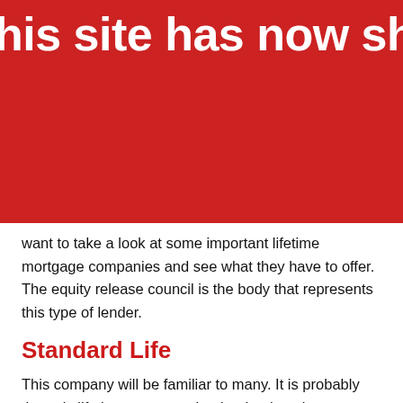[Figure (screenshot): Red banner overlay with white bold text reading 'his site has now shut down. We' — partially visible, cropped on both sides]
want to take a look at some important lifetime mortgage companies and see what they have to offer. The equity release council is the body that represents this type of lender.
Standard Life
This company will be familiar to many. It is probably the only lifetime mortgage lender that is truly a household name. They provide a calculator for customers on their website.